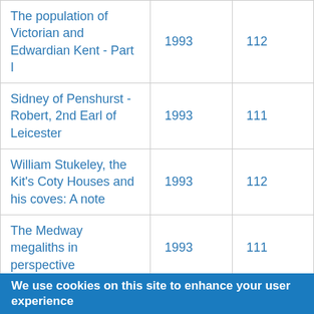| The population of Victorian and Edwardian Kent - Part I | 1993 | 112 |
| Sidney of Penshurst - Robert, 2nd Earl of Leicester | 1993 | 111 |
| William Stukeley, the Kit's Coty Houses and his coves: A note | 1993 | 112 |
| The Medway megaliths in perspective | 1993 | 111 |
| Finances and government of Canterbury early to mid- | 1993 | 112 |
We use cookies on this site to enhance your user experience